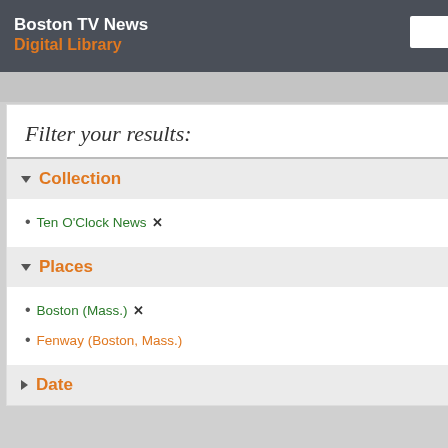Boston TV News Digital Library
Filter your results:
Collection
Ten O'Clock News  ✕  6
Places
Boston (Mass.)  ✕  6
Fenway (Boston, Mass.)  1
Date
1 - 6 of 6  ☐  Include
Celtics vs R
[Figure (photo): Basketball game photo showing player number 17 from behind on a court with crowd in background]
Boston Ca